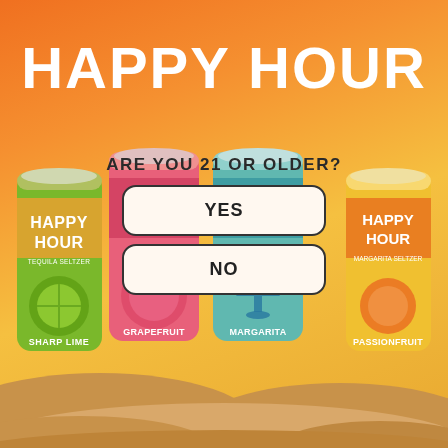HAPPY HOUR
ARE YOU 21 OR OLDER?
YES
NO
[Figure (illustration): Four Happy Hour tequila seltzer cans in sand: Sharp Lime (green), Grapefruit (pink), Margarita (teal), Passionfruit (orange/yellow), with age verification YES/NO buttons overlaid in front of the cans]